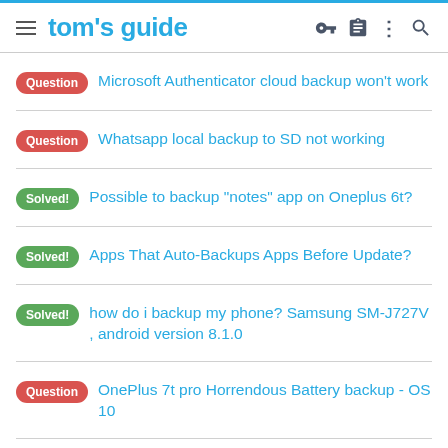tom's guide
Question — Microsoft Authenticator cloud backup won't work
Question — Whatsapp local backup to SD not working
Solved! — Possible to backup "notes" app on Oneplus 6t?
Solved! — Apps That Auto-Backups Apps Before Update?
Solved! — how do i backup my phone? Samsung SM-J727V , android version 8.1.0
Question — OnePlus 7t pro Horrendous Battery backup - OS 10